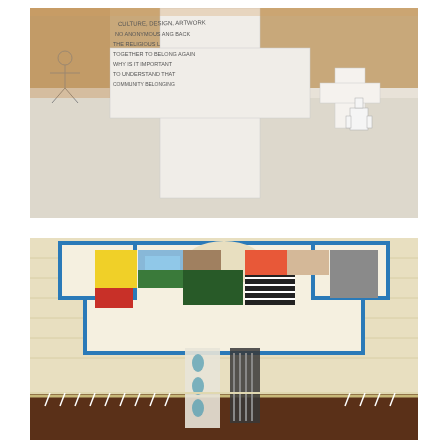[Figure (photo): Photo of paper craft figures on a white surface. The central figure is a paper cross/person shape with handwritten text including questions like 'WHY IS IT IMPORTANT TO UNDERSTAND THAT' and words like 'RELIGIOUS', 'TOGETHER', 'TOGETHER TO BELONG', 'NO ANONYMOUS'. Smaller paper figure cut-outs are visible to the right. A stick figure drawing is visible on the left.]
[Figure (photo): Photo of a decorative garment/tunic shape (resembling a coat of many colors) made from collage materials including colorful magazine clippings, fabric swatches, and patterned paper mounted on a textured burlap/canvas background. The garment has a blue border/outline and is filled with various colorful patches. Below hang additional decorative fabric strips and patterns.]